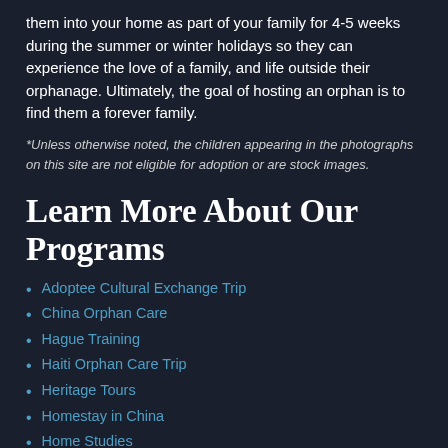them into your home as part of your family for 4-5 weeks during the summer or winter holidays so they can experience the love of a family, and life outside their orphanage. Ultimately, the goal of hosting an orphan is to find them a forever family.
*Unless otherwise noted, the children appearing in the photographs on this site are not eligible for adoption or are stock images.
Learn More About Our Programs
Adoptee Cultural Exchange Trip
China Orphan Care
Hague Training
Haiti Orphan Care Trip
Heritage Tours
Homestay in China
Home Studies
Hosting Exchange Students
International Adoption
Medical Referral